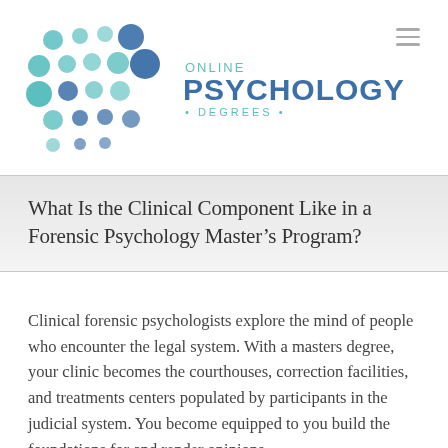[Figure (logo): Online Psychology Degrees logo with teal and blue circle dot grid pattern and brand name text]
What Is the Clinical Component Like in a Forensic Psychology Master's Program?
Clinical forensic psychologists explore the mind of people who encounter the legal system. With a masters degree, your clinic becomes the courthouses, correction facilities, and treatments centers populated by participants in the judicial system. You become equipped to you build the foundations for and render opinions